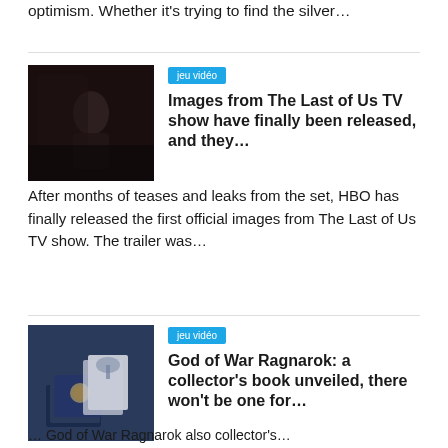optimism. Whether it's trying to find the silver…
[Figure (photo): Dark moody promotional image from The Last of Us TV show]
jeu vidéo
Images from The Last of Us TV show have finally been released, and they…
After months of teases and leaks from the set, HBO has finally released the first official images from The Last of Us TV show. The trailer was…
[Figure (photo): God of War Ragnarok collector's book and box set displayed]
jeu vidéo
God of War Ragnarok: a collector's book unveiled, there won't be one for…
… God of War Ragnarok also collector's…